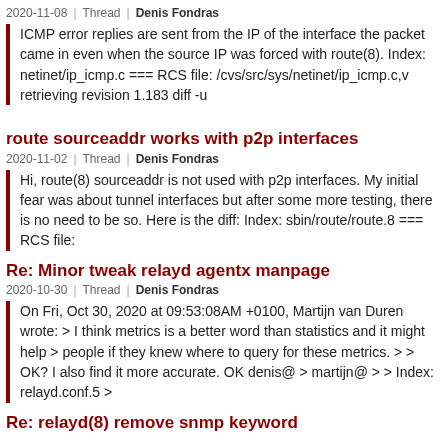2020-11-08 | Thread | Denis Fondras
ICMP error replies are sent from the IP of the interface the packet came in even when the source IP was forced with route(8). Index: netinet/ip_icmp.c === RCS file: /cvs/src/sys/netinet/ip_icmp.c,v retrieving revision 1.183 diff -u
route sourceaddr works with p2p interfaces
2020-11-02 | Thread | Denis Fondras
Hi, route(8) sourceaddr is not used with p2p interfaces. My initial fear was about tunnel interfaces but after some more testing, there is no need to be so. Here is the diff: Index: sbin/route/route.8 === RCS file:
Re: Minor tweak relayd agentx manpage
2020-10-30 | Thread | Denis Fondras
On Fri, Oct 30, 2020 at 09:53:08AM +0100, Martijn van Duren wrote: > I think metrics is a better word than statistics and it might help > people if they knew where to query for these metrics. > > OK? I also find it more accurate. OK denis@ > martijn@ > > Index: relayd.conf.5 >
Re: relayd(8) remove snmp keyword